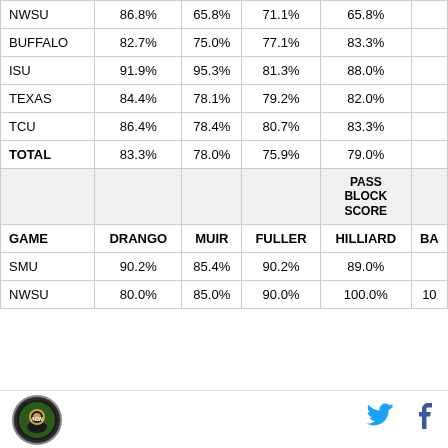| GAME | DRANGO | MUIR | FULLER | HILLIARD | BA... |
| --- | --- | --- | --- | --- | --- |
| NWSU | 86.8% | 65.8% | 71.1% | 65.8% |  |
| BUFFALO | 82.7% | 75.0% | 77.1% | 83.3% |  |
| ISU | 91.9% | 95.3% | 81.3% | 88.0% |  |
| TEXAS | 84.4% | 78.1% | 79.2% | 82.0% |  |
| TCU | 86.4% | 78.4% | 80.7% | 83.3% |  |
| TOTAL | 83.3% | 78.0% | 75.9% | 79.0% |  |
|  |  |  |  | PASS BLOCK SCORE |  |
| GAME | DRANGO | MUIR | FULLER | HILLIARD | BA... |
| SMU | 90.2% | 85.4% | 90.2% | 89.0% |  |
| NWSU | 80.0% | 85.0% | 90.0% | 100.0% | 10... |